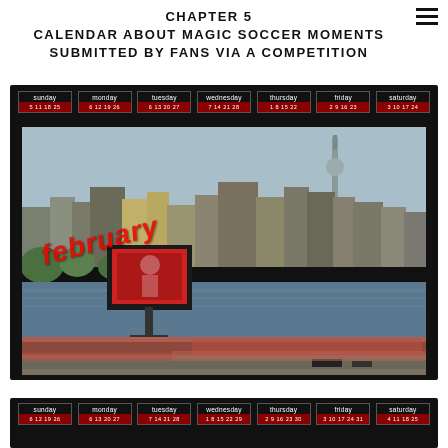CHAPTER 5
CALENDAR ABOUT MAGIC SOCCER MOMENTS
SUBMITTED BY FANS VIA A COMPETITION
[Figure (photo): February calendar page with a photo of an outdoor public soccer screening event (fan fest) at Frankfurt riverside, with a large screen visible near the river Rhine and crowds of people along the riverbank. The word 'february' is written diagonally in red italic text over the image. Calendar header shows days Sunday through Saturday with date numbers for February.]
[Figure (photo): Bottom portion of another calendar page showing the same day-header row (sunday through saturday) with date numbers, on black background.]